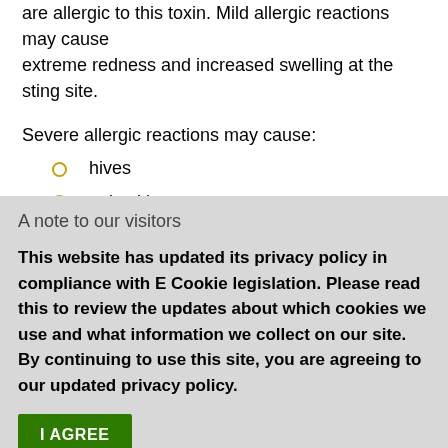are allergic to this toxin. Mild allergic reactions may cause extreme redness and increased swelling at the sting site.
Severe allergic reactions may cause:
hives
pale skin
severe itching
swelling of the tongue and throat
A note to our visitors
This website has updated its privacy policy in compliance with E Cookie legislation. Please read this to review the updates about which cookies we use and what information we collect on our site. By continuing to use this site, you are agreeing to our updated privacy policy.
I AGREE
This notice should appear only the first time you visit the site.